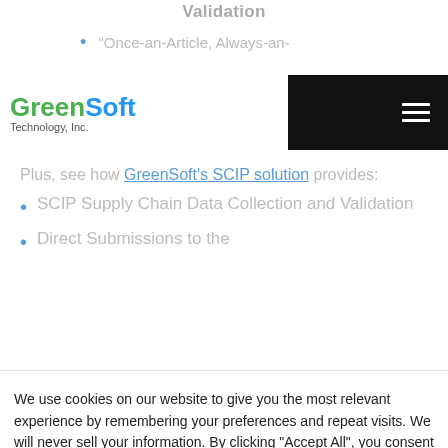Validation
"Once-an-Article, Always-an-"
[Figure (logo): GreenSoft Technology, Inc. logo with green and blue text, alongside a black navigation bar with hamburger menu icon]
Plus, see how GreenSoft's SCIP solution provides:
SCIP Supply Chain Data Collection and Validation
Direct Submissions to the
We use cookies on our website to give you the most relevant experience by remembering your preferences and repeat visits. We will never sell your information. By clicking “Accept All”, you consent to the use of all the cookies. You may click “Read More” to see a list of cookies used on this site.
Read More
Accept All